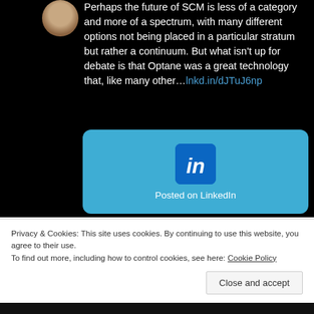Perhaps the future of SCM is less of a category and more of a spectrum, with many different options not being placed in a particular stratum but rather a continuum. But what isn't up for debate is that Optane was a great technology that, like many other…lnkd.in/dJTuJ6np
[Figure (screenshot): LinkedIn card with LinkedIn logo (blue 'in' icon on dark blue background) and text 'Posted on LinkedIn' on a light blue rounded rectangle card]
Privacy & Cookies: This site uses cookies. By continuing to use this website, you agree to their use.
To find out more, including how to control cookies, see here: Cookie Policy
Close and accept